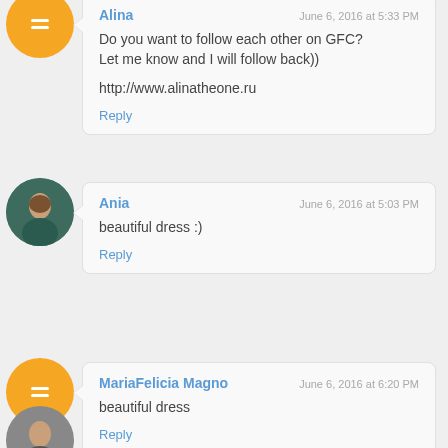Alina
June 6, 2016 at 5:33 PM
Do you want to follow each other on GFC? Let me know and I will follow back))
http://www.alinatheone.ru
Reply
[Figure (photo): Ania profile photo - woman in teal/dark clothing]
Ania
June 6, 2016 at 5:03 PM
beautiful dress :)
Reply
MariaFelicia Magno
June 6, 2016 at 6:20 PM
beautiful dress
Reply